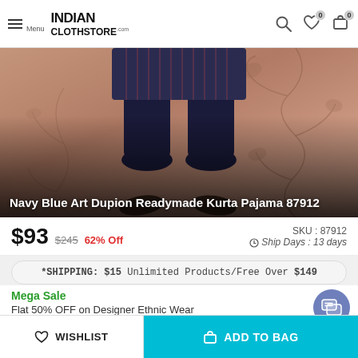INDIAN CLOTHSTORE.COM — Menu, Search, Wishlist (0), Cart (0)
[Figure (photo): Product photo of Navy Blue Art Dupion Readymade Kurta Pajama, showing lower body with dark navy pajama pants against a pinkish-brown background with floral vine decoration]
Navy Blue Art Dupion Readymade Kurta Pajama 87912
$93  $245  62% Off  SKU : 87912  Ship Days : 13 days
*SHIPPING: $15 Unlimited Products/Free Over $149
Mega Sale
Flat 50% OFF on Designer Ethnic Wear
View Collection
WISHLIST  ADD TO BAG